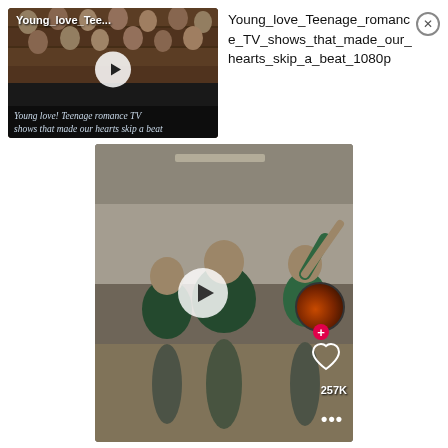[Figure (screenshot): Video thumbnail showing group of teenagers sitting in bleachers with a play button overlay. Title 'Young_love_Tee...' at top left. Caption reads 'Young love! Teenage romance TV shows that made our hearts skip a beat']
Young_love_Teenage_romance_TV_shows_that_made_our_hearts_skip_a_beat_1080p
[Figure (screenshot): TikTok-style video showing three young men in green jackets/shirts dancing in a gymnasium. A play button is visible in the center. Right side shows a profile avatar with a red plus button, a heart icon, like count '257K', and a three-dot menu.]